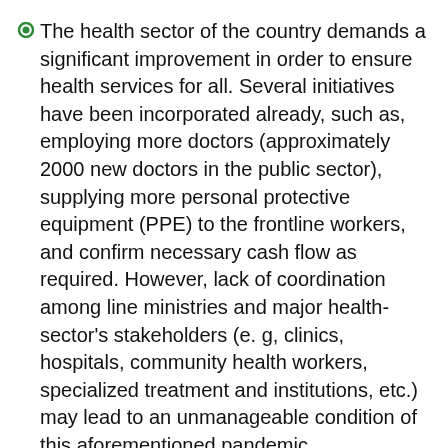The health sector of the country demands a significant improvement in order to ensure health services for all. Several initiatives have been incorporated already, such as, employing more doctors (approximately 2000 new doctors in the public sector), supplying more personal protective equipment (PPE) to the frontline workers, and confirm necessary cash flow as required. However, lack of coordination among line ministries and major health-sector's stakeholders (e. g, clinics, hospitals, community health workers, specialized treatment and institutions, etc.) may lead to an unmanageable condition of this aforementioned pandemic.
Most of the countries are easing lockdowns and in Bangladesh it is really difficult to enforce a very effective one due to not only population density in Dhaka, but also for many other socio-economic